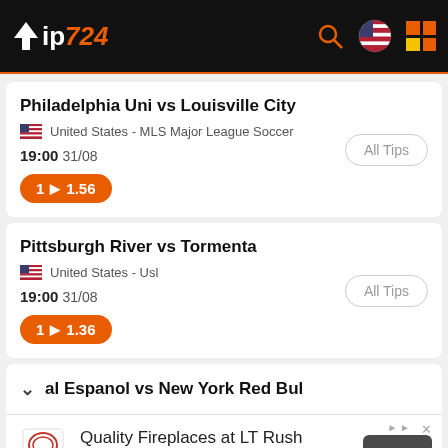TIP724
Philadelphia Uni vs Louisville City
United States - MLS Major League Soccer
19:00 31/08
1 ▶ 1.56
Pittsburgh River vs Tormenta
United States - Usl
19:00 31/08
1 ▶ 1.36
al Espanol vs New York Red Bul
[Figure (screenshot): Advertisement banner for LT Rush fireplaces with logo, text and Open button]
Quality Fireplaces at LT Rush. We will help you find the fireplace that's perfect for your family. ltrushstone.com